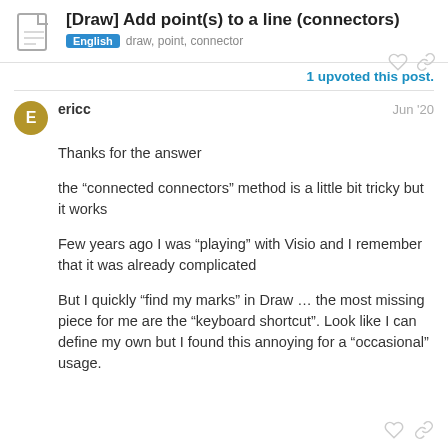[Draw] Add point(s) to a line (connectors) | English  draw, point, connector
1 upvoted this post.
ericc  Jun '20
Thanks for the answer
the “connected connectors” method is a little bit tricky but it works
Few years ago I was “playing” with Visio and I remember that it was already complicated
But I quickly “find my marks” in Draw … the most missing piece for me are the “keyboard shortcut”. Look like I can define my own but I found this annoying for a “occasional” usage.